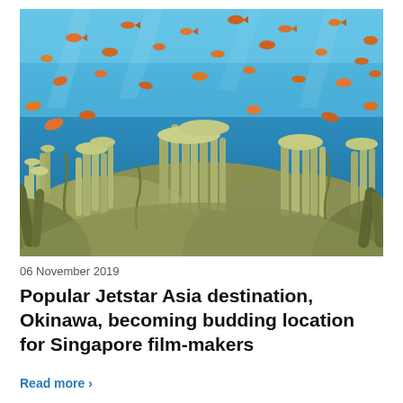[Figure (photo): Underwater photo of a coral reef with branching staghorn corals in the foreground, and numerous small orange/red tropical fish swimming against a vivid blue ocean background.]
06 November 2019
Popular Jetstar Asia destination, Okinawa, becoming budding location for Singapore film-makers
Read more ›